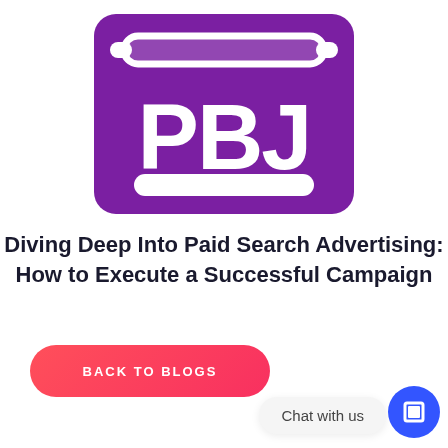[Figure (logo): PBJ logo: white letters PBJ with a scroll/banner icon on a purple rounded rectangle background]
Diving Deep Into Paid Search Advertising: How to Execute a Successful Campaign
BACK TO BLOGS
Chat with us